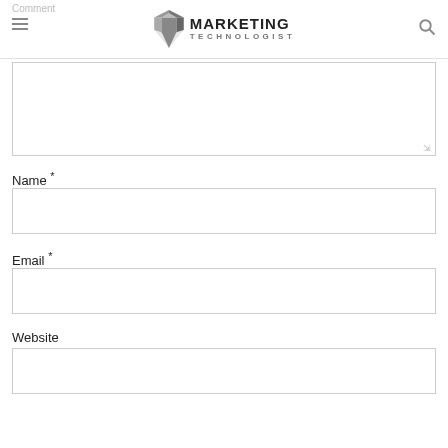Marketing Technologist
Comment
[Figure (screenshot): Website comment form with fields for Comment (textarea), Name, Email, and Website]
Name *
Email *
Website